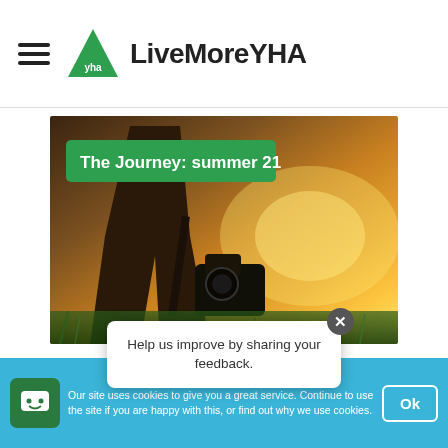LiveMoreYHA
[Figure (photo): Person holding a camera standing in a field with golden sunset light behind them, with green overlay text badge reading 'The Journey: summer 21']
Now that’s a view
Help us improve by sharing your feedback.
Our site uses cookies to give you a great service. Continue to use the site if you are happy with this, or find out why we use cookies.